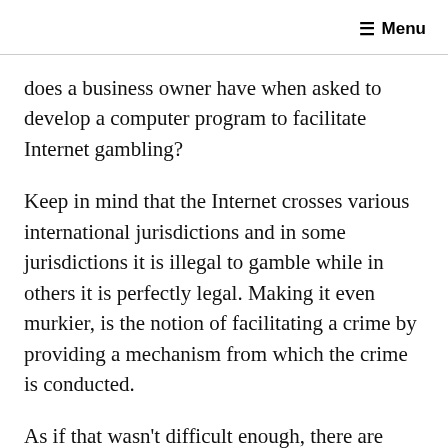≡ Menu
does a business owner have when asked to develop a computer program to facilitate Internet gambling?
Keep in mind that the Internet crosses various international jurisdictions and in some jurisdictions it is illegal to gamble while in others it is perfectly legal. Making it even murkier, is the notion of facilitating a crime by providing a mechanism from which the crime is conducted.
As if that wasn't difficult enough, there are